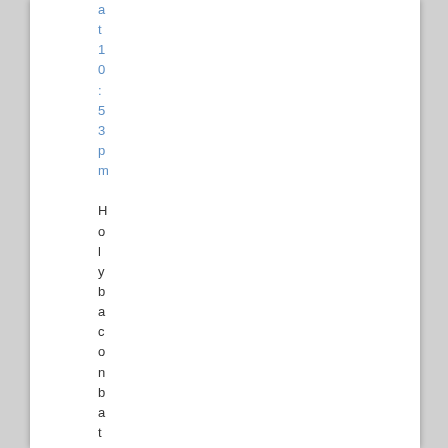at 10:53pm
Holybacon batman...